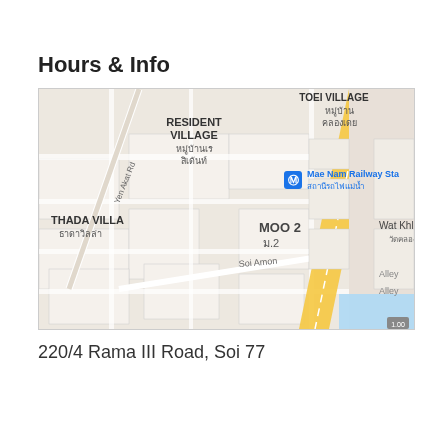Hours & Info
[Figure (map): Google Maps showing the area around 220/4 Rama III Road, Soi 77 in Bangkok, Thailand. Map labels include: RESIDENT VILLAGE / หมู่บ้านเรสิเด้นท์, TOEI VILLAGE / หมู่บ้านคลองเดย, Mae Nam Railway Station / สถานีรถไฟแม่น้ำ, THADA VILLA / ธาดาวิลล่า, MOO 2 / ม.2, Wat Khlong Toei / วัดคลองเตย, Soi Amon, Yen Akat Rd, Alley, Alley. A yellow diagonal road runs through the center.]
220/4 Rama III Road, Soi 77